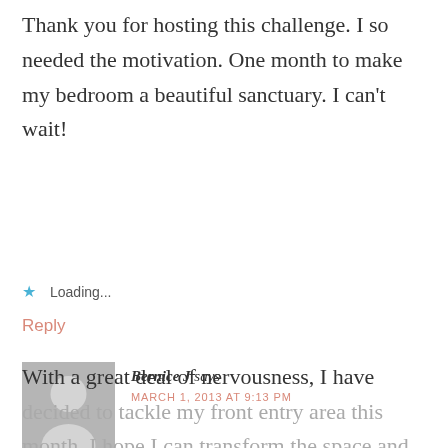Thank you for hosting this challenge. I so needed the motivation. One month to make my bedroom a beautiful sanctuary. I can't wait!
Loading...
Reply
[Figure (illustration): Gray silhouette avatar placeholder image of a person]
Bernice J says
MARCH 1, 2013 AT 9:13 PM
With a great deal of nervousness, I have decided to tackle my front entry area this month. I hope I can transform the space and